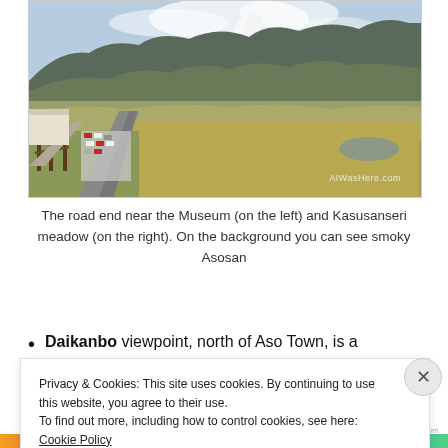[Figure (photo): Landscape photo showing a road end near a Museum with a parking area on the left and Kasusanseri meadow on the right, with smoky Asosan volcano visible in the background. Watermark reads AIWasHere.com]
The road end near the Museum (on the left) and Kasusanseri meadow (on the right). On the background you can see smoky Asosan
Daikanbo viewpoint, north of Aso Town, is a
Privacy & Cookies: This site uses cookies. By continuing to use this website, you agree to their use.
To find out more, including how to control cookies, see here: Cookie Policy
Close and accept